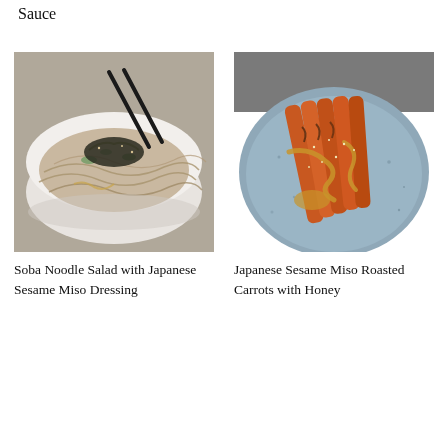Sauce
[Figure (photo): A white bowl of soba noodle salad topped with shredded nori, sliced cucumber, and sesame seeds with chopsticks resting on top, on a gray surface]
Soba Noodle Salad with Japanese Sesame Miso Dressing
[Figure (photo): Roasted whole carrots with sesame seeds on a blue-gray speckled ceramic plate drizzled with honey miso sauce]
Japanese Sesame Miso Roasted Carrots with Honey